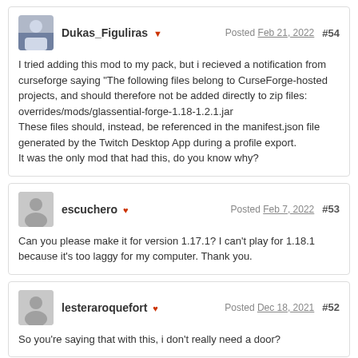Dukas_Figuliras ♥ Posted Feb 21, 2022 #54
I tried adding this mod to my pack, but i recieved a notification from curseforge saying "The following files belong to CurseForge-hosted projects, and should therefore not be added directly to zip files: overrides/mods/glassential-forge-1.18-1.2.1.jar
These files should, instead, be referenced in the manifest.json file generated by the Twitch Desktop App during a profile export.
It was the only mod that had this, do you know why?
escuchero ♥ Posted Feb 7, 2022 #53
Can you please make it for version 1.17.1? I can't play for 1.18.1 because it's too laggy for my computer. Thank you.
lesteraroquefort ♥ Posted Dec 18, 2021 #52
So you're saying that with this, i don't really need a door?